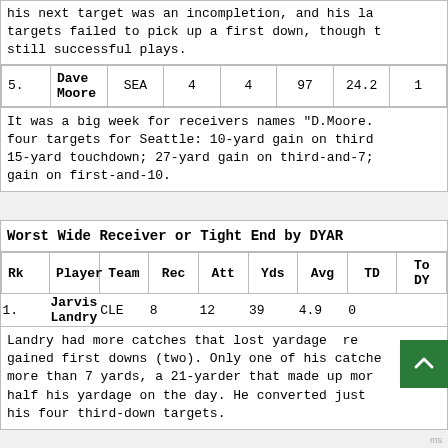his next target was an incompletion, and his last targets failed to pick up a first down, though they were still successful plays.
| Rk | Player | Team | Rec | Att | Yds | Avg | TD | Total DYAR |
| --- | --- | --- | --- | --- | --- | --- | --- | --- |
| 5. | Dave Moore | SEA | 4 | 4 | 97 | 24.2 | 1 |  |
It was a big week for receivers names "D.Moore." four targets for Seattle: 10-yard gain on third 15-yard touchdown; 27-yard gain on third-and-7; gain on first-and-10.
Worst Wide Receiver or Tight End by DYAR
| Rk | Player | Team | Rec | Att | Yds | Avg | TD | Total DYAR |
| --- | --- | --- | --- | --- | --- | --- | --- | --- |
| 1. | Jarvis Landry | CLE | 8 | 12 | 39 | 4.9 | 0 |  |
Landry had more catches that lost yardage than he gained first downs (two). Only one of his catches went more than 7 yards, a 21-yarder that made up more than half his yardage on the day. He converted just one of his four third-down targets.